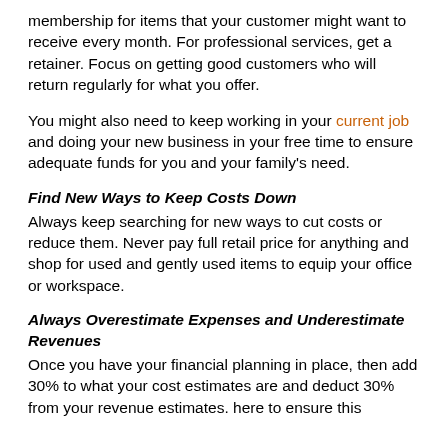membership for items that your customer might want to receive every month. For professional services, get a retainer. Focus on getting good customers who will return regularly for what you offer.
You might also need to keep working in your current job and doing your new business in your free time to ensure adequate funds for you and your family's need.
Find New Ways to Keep Costs Down
Always keep searching for new ways to cut costs or reduce them. Never pay full retail price for anything and shop for used and gently used items to equip your office or workspace.
Always Overestimate Expenses and Underestimate Revenues
Once you have your financial planning in place, then add 30% to what your cost estimates are and deduct 30% from your revenue estimates. here to ensure this